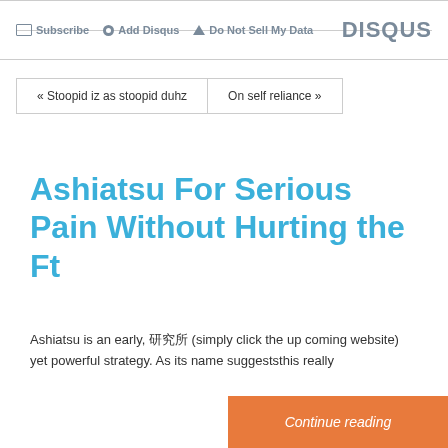Subscribe  Add Disqus  Do Not Sell My Data  DISQUS
« Stoopid iz as stoopid duhz   On self reliance »
Ashiatsu For Serious Pain Without Hurting the Ft
Ashiatsu is an early, 研究所 (simply click the up coming website) yet powerful strategy. As its name suggeststhis really
Continue reading